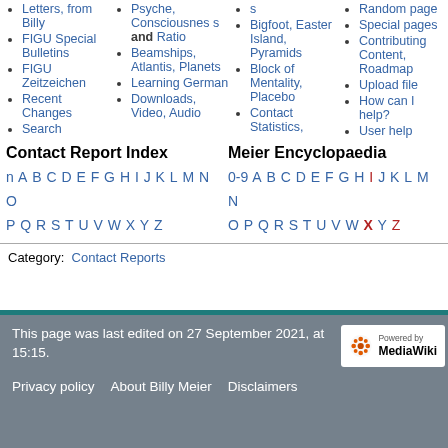Letters, from Billy
FIGU Special Bulletins
FIGU Zeitzeichen
Recent Changes
Search
Psyche, Consciousness and Ratio
Beamships, Atlantis, Planets
Learning German
Downloads, Video, Audio
s
Bigfoot, Easter Island, Pyramids
Block of Mentality, Placebo
Contact Statistics,
Random page
Special pages
Contributing Content, Roadmap
Upload file
How can I help?
User help
Contact Report Index
n A B C D E F G H I J K L M N O P Q R S T U V W X Y Z
Meier Encyclopaedia
0-9 A B C D E F G H I J K L M N O P Q R S T U V W X Y Z
Category: Contact Reports
This page was last edited on 27 September 2021, at 15:15.
Privacy policy   About Billy Meier   Disclaimers